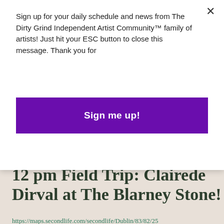Sign up for your daily schedule and news from The Dirty Grind Independent Artist Community™ family of artists! Just hit your ESC button to close this message. Thank you for
Sign me up!
12 pm Field Trip: Clairede Dirval at The Blarney Stone!
https://maps.secondlife.com/secondlife/Dublin/83/82/25
1 pm Field Trip: Lluis Indigo at Sophias's Club NYC!
https://maps.secondlife.com/secondlife/Sommos/190/191...